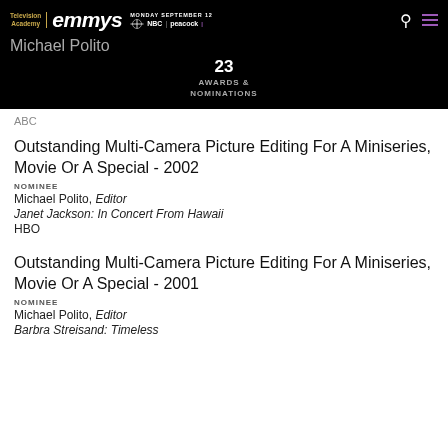Television Academy emmys MONDAY SEPTEMBER 12 NBC | peacock
Michael Polito
23
AWARDS & NOMINATIONS
ABC
Outstanding Multi-Camera Picture Editing For A Miniseries, Movie Or A Special - 2002
NOMINEE
Michael Polito, Editor
Janet Jackson: In Concert From Hawaii
HBO
Outstanding Multi-Camera Picture Editing For A Miniseries, Movie Or A Special - 2001
NOMINEE
Michael Polito, Editor
Barbra Streisand: Timeless